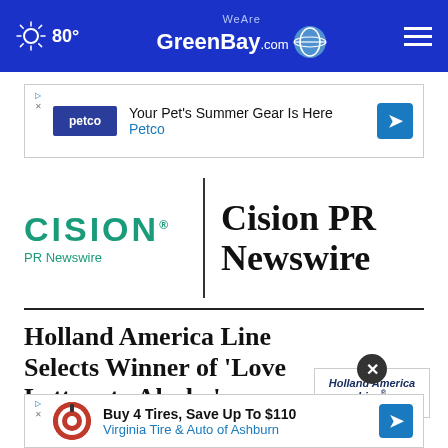80° WeAreGreenBay.com
[Figure (screenshot): Petco advertisement banner: 'Your Pet's Summer Gear Is Here – Petco']
[Figure (logo): CISION PR Newswire logo with teal CISION text and 'PR Newswire' subtitle, separated by vertical bar from bold 'Cision PR Newswire' heading]
Holland America Line Selects Winner of 'Love Letters to Alaska' Contest from More Than 40,0...
[Figure (logo): Holland America Line logo with close button overlay]
[Figure (screenshot): Virginia Tire & Auto advertisement: 'Buy 4 Tires, Save Up To $110 – Virginia Tire & Auto of Ashburn']